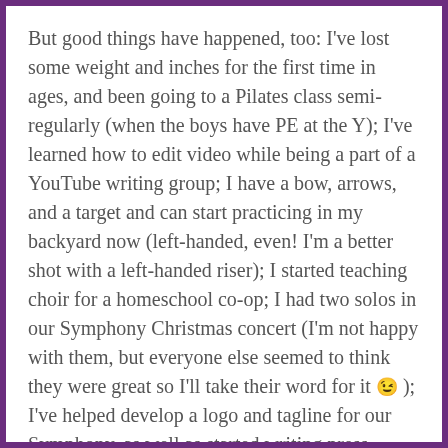But good things have happened, too: I've lost some weight and inches for the first time in ages, and been going to a Pilates class semi-regularly (when the boys have PE at the Y); I've learned how to edit video while being a part of a YouTube writing group; I have a bow, arrows, and a target and can start practicing in my backyard now (left-handed, even! I'm a better shot with a left-handed riser); I started teaching choir for a homeschool co-op; I had two solos in our Symphony Christmas concert (I'm not happy with them, but everyone else seemed to think they were great so I'll take their word for it 😉 ); I've helped develop a logo and tagline for our Symphony, as well as started writing press releases and proofing marketing materials; and I've been editing for actual money, which is just